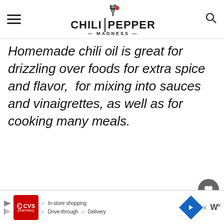Chili Pepper Madness
Homemade chili oil is great for drizzling over foods for extra spice and flavor,  for mixing into sauces and vinaigrettes, as well as for cooking many meals.
[Figure (photo): Food photo showing white bowls with chili oil ingredients on a grey background with yellow accents]
19.6K
WHAT'S NEXT → Drying Chili Peppers
[Figure (photo): CVS Pharmacy advertisement banner with In-store shopping, Drive-through, and Delivery options]